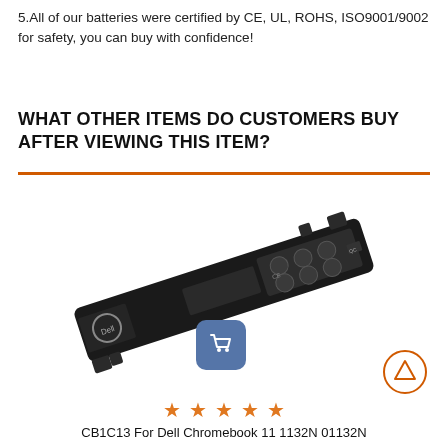5.All of our batteries were certified by CE, UL, ROHS, ISO9001/9002 for safety, you can buy with confidence!
WHAT OTHER ITEMS DO CUSTOMERS BUY AFTER VIEWING THIS ITEM?
[Figure (photo): A laptop battery (CB1C13 For Dell Chromebook 11 1132N 01132N) shown at an angle against a white background, with a shopping cart icon overlay]
CB1C13 For Dell Chromebook 11 1132N 01132N